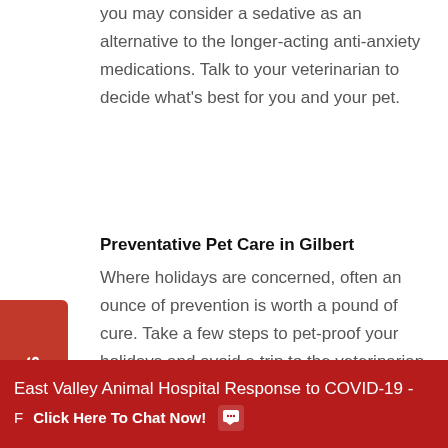you may consider a sedative as an alternative to the longer-acting anti-anxiety medications. Talk to your veterinarian to decide what's best for you and your pet.
Preventative Pet Care in Gilbert
Where holidays are concerned, often an ounce of prevention is worth a pound of cure. Take a few steps to pet-proof your holidays and avoid a trip to the veterinarian. In the case of an emergency, our compassionate and caring veterinarians are standing by to offer treatment for your pets in Gilbert, Chandler and Mesa.
East Valley Animal Hospital Response to COVID-19 - F Click Here To Chat Now!